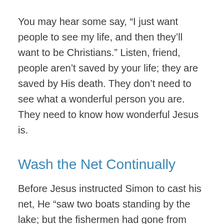You may hear some say, “I just want people to see my life, and then they’ll want to be Christians.” Listen, friend, people aren’t saved by your life; they are saved by His death. They don’t need to see what a wonderful person you are. They need to know how wonderful Jesus is.
Wash the Net Continually
Before Jesus instructed Simon to cast his net, He “saw two boats standing by the lake; but the fishermen had gone from them and were